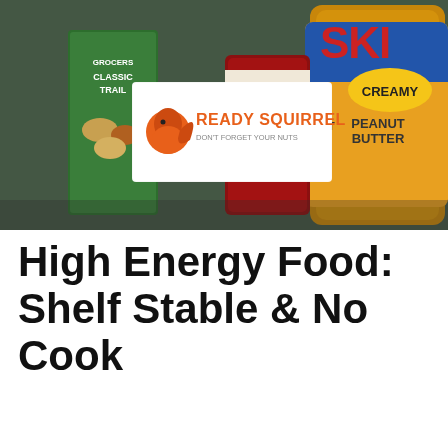[Figure (photo): Photo of shelf-stable food items including a jar of Skippy Creamy peanut butter, a can of spiced tomatoes and green chiles, a box of Classic Trail grocers mix, and other pantry foods on a countertop. A 'Ready Squirrel – Don't Forget Your Nuts' logo overlay is visible in the upper left area.]
High Energy Food: Shelf Stable & No Cook
The foods listed below are shelf-stable and ready to eat. They require little time and no preparation or resources like cooking fuel.
High Energy food(s) used for obstacle...
[Figure (screenshot): Advertisement banner at the bottom: dark background with white bold text reading 'Download Helbiz and ride', with a small play icon and X close button in the top right corner.]